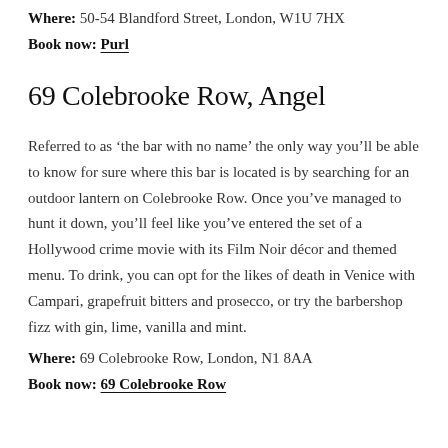Where: 50-54 Blandford Street, London, W1U 7HX
Book now: Purl
69 Colebrooke Row, Angel
Referred to as ‘the bar with no name’ the only way you’ll be able to know for sure where this bar is located is by searching for an outdoor lantern on Colebrooke Row. Once you’ve managed to hunt it down, you’ll feel like you’ve entered the set of a Hollywood crime movie with its Film Noir décor and themed menu. To drink, you can opt for the likes of death in Venice with Campari, grapefruit bitters and prosecco, or try the barbershop fizz with gin, lime, vanilla and mint.
Where: 69 Colebrooke Row, London, N1 8AA
Book now: 69 Colebrooke Row